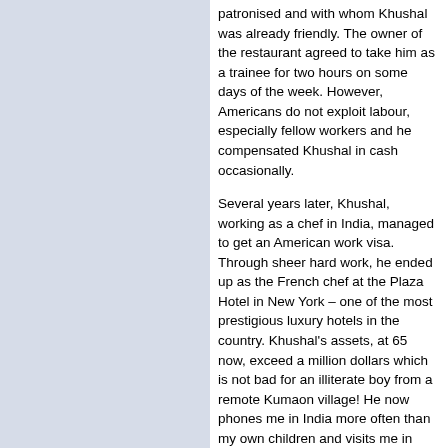patronised and with whom Khushal was already friendly. The owner of the restaurant agreed to take him as a trainee for two hours on some days of the week. However, Americans do not exploit labour, especially fellow workers and he compensated Khushal in cash occasionally.
Several years later, Khushal, working as a chef in India, managed to get an American work visa. Through sheer hard work, he ended up as the French chef at the Plaza Hotel in New York – one of the most prestigious luxury hotels in the country. Khushal's assets, at 65 now, exceed a million dollars which is not bad for an illiterate boy from a remote Kumaon village! He now phones me in India more often than my own children and visits me in Chandigarh almost every year.
My posting of three years in San Francisco came to an end. In the new scheme of things, I was relocated to Europe, as the head of the Tourist Office in Frankfurt,